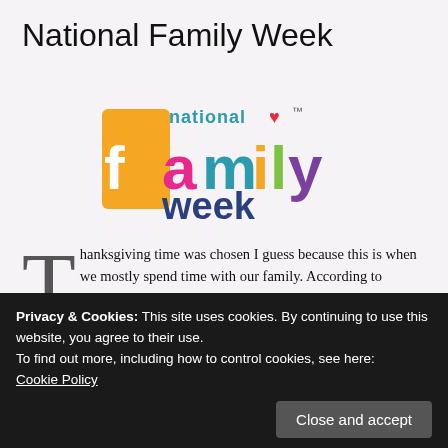National Family Week
[Figure (logo): National Family Week logo with colorful text: 'national' in teal, a red heart, TM mark, 'family' in multicolor letters (purple f, pink a, teal m, orange i, green l, purple y), and 'week' in dark blue, with orange rectangular background behind 'f']
Thanksgiving time was chosen I guess because this is when we mostly spend time with our family. According to Alliance1, National Family Week, designed to build community connections and
Privacy & Cookies: This site uses cookies. By continuing to use this website, you agree to their use.
To find out more, including how to control cookies, see here:
Cookie Policy
National Family Week, founded in 1968. (2018 marked the 50th